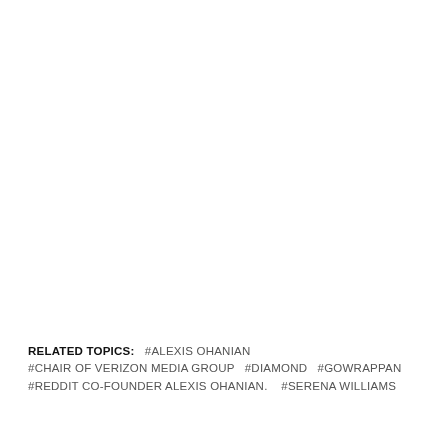RELATED TOPICS:   #ALEXIS OHANIAN   #CHAIR OF VERIZON MEDIA GROUP   #DIAMOND   #GOWRAPPAN   #REDDIT CO-FOUNDER ALEXIS OHANIAN.   #SERENA WILLIAMS